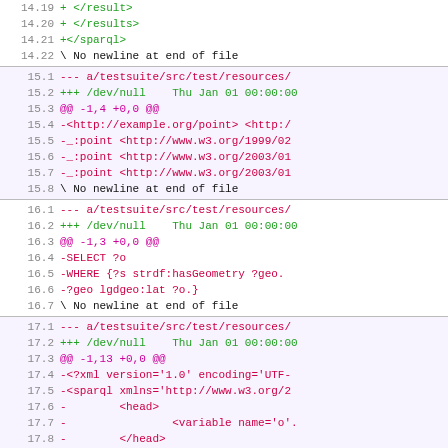14.19 +                </result>
14.20 +        </results>
14.21 +</sparql>
14.22 \ No newline at end of file
15.1 --- a/testsuite/src/test/resources/
15.2 +++ /dev/null    Thu Jan 01 00:00:00
15.3 @@ -1,4 +0,0 @@
15.4 -<http://example.org/point> <http:/
15.5 -_:point <http://www.w3.org/1999/02
15.6 -_:point <http://www.w3.org/2003/01
15.7 -_:point <http://www.w3.org/2003/01
15.8 \ No newline at end of file
16.1 --- a/testsuite/src/test/resources/
16.2 +++ /dev/null    Thu Jan 01 00:00:00
16.3 @@ -1,3 +0,0 @@
16.4 -SELECT ?o
16.5 -WHERE {?s strdf:hasGeometry ?geo.
16.6 -?geo lgdgeo:lat ?o.}
16.7 \ No newline at end of file
17.1 --- a/testsuite/src/test/resources/
17.2 +++ /dev/null    Thu Jan 01 00:00:00
17.3 @@ -1,13 +0,0 @@
17.4 -<?xml version='1.0' encoding='UTF-
17.5 -<sparql xmlns='http://www.w3.org/2
17.6 -        <head>
17.7 -                <variable name='o'.
17.8 -        </head>
17.9 -        <results>
17.10 -                <result>
17.11 -                        <binding na
17.12 -                                <1: